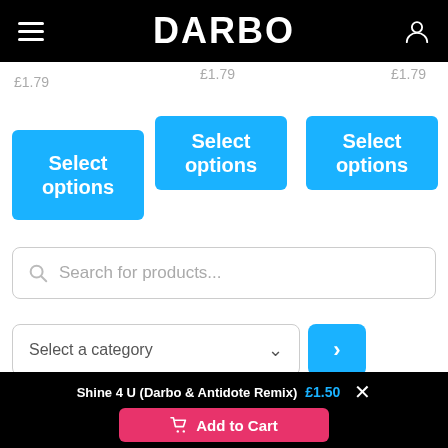DARBO
£1.79
£1.79
£1.79
Select options
Select options
Select options
Search for products...
Select a category
OUT NOW!
Shine 4 U (Darbo & Antidote Remix)  £1.50  Add to Cart